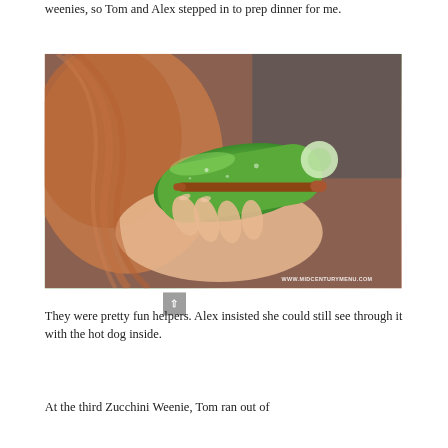weenies, so Tom and Alex stepped in to prep dinner for me.
[Figure (photo): A child with red hair holds a zucchini hollowed out like a tube, with a hot dog inserted through it, holding it up to her eye as if to look through it. Watermark: WWW.MIDCENTURYMENU.COM]
They were pretty fun helpers. Alex insisted she could still see through it with the hot dog inside.
At the third Zucchini Weenie, Tom ran out of